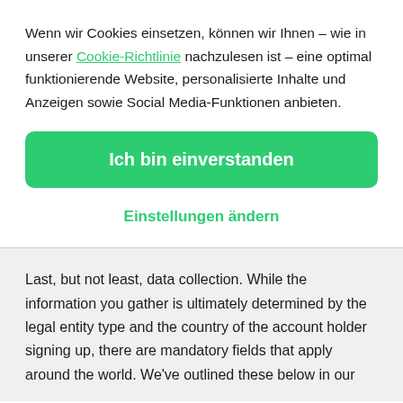Wenn wir Cookies einsetzen, können wir Ihnen – wie in unserer Cookie-Richtlinie nachzulesen ist – eine optimal funktionierende Website, personalisierte Inhalte und Anzeigen sowie Social Media-Funktionen anbieten.
Ich bin einverstanden
Einstellungen ändern
Last, but not least, data collection. While the information you gather is ultimately determined by the legal entity type and the country of the account holder signing up, there are mandatory fields that apply around the world. We've outlined these below in our